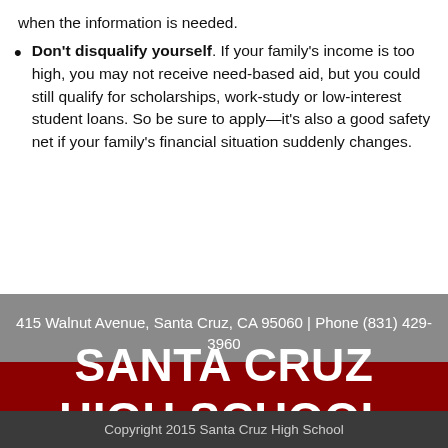when the information is needed.
Don't disqualify yourself. If your family's income is too high, you may not receive need-based aid, but you could still qualify for scholarships, work-study or low-interest student loans. So be sure to apply—it's also a good safety net if your family's financial situation suddenly changes.
415 Walnut Avenue, Santa Cruz, CA 95060 | Phone (831) 429-3960
SANTA CRUZ HIGH SCHOOL
Copyright 2015 Santa Cruz High School